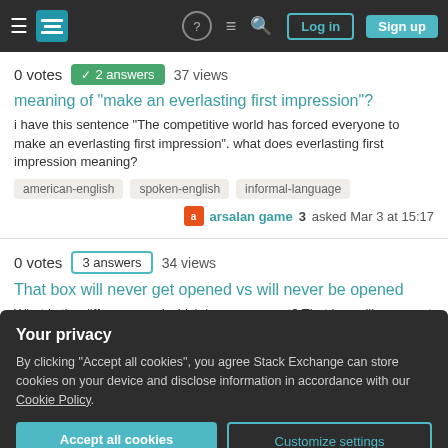Stack Exchange — Navigation bar with Log in and Sign up buttons
0 votes  ✓ 2 answers  37 views
meaning of "make an everlasting first impression"?
i have this sentence "The competitive world has forced everyone to make an everlasting first impression". what does everlasting first impression meaning?
american-english
spoken-english
informal-language
arsalan game 3 asked Mar 3 at 15:17
0 votes  3 answers  34 views
That box will never get opened vs will never be opened
What is the difference and which is more correct? That box will never get opened vs will never be opened.
Your privacy
By clicking "Accept all cookies", you agree Stack Exchange can store cookies on your device and disclose information in accordance with our Cookie Policy.
Accept all cookies
Customize settings
9 votes  5 answers  2K views